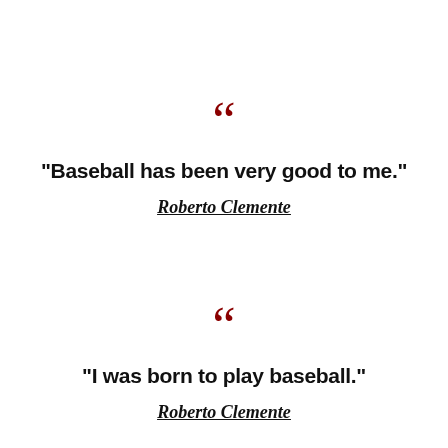““
"Baseball has been very good to me."
Roberto Clemente
““
"I was born to play baseball."
Roberto Clemente